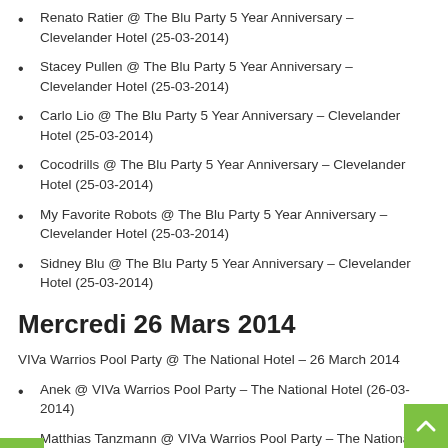Renato Ratier @ The Blu Party 5 Year Anniversary – Clevelander Hotel (25-03-2014)
Stacey Pullen @ The Blu Party 5 Year Anniversary – Clevelander Hotel (25-03-2014)
Carlo Lio @ The Blu Party 5 Year Anniversary – Clevelander Hotel (25-03-2014)
Cocodrills @ The Blu Party 5 Year Anniversary – Clevelander Hotel (25-03-2014)
My Favorite Robots @ The Blu Party 5 Year Anniversary – Clevelander Hotel (25-03-2014)
Sidney Blu @ The Blu Party 5 Year Anniversary – Clevelander Hotel (25-03-2014)
Mercredi 26 Mars 2014
VIVa Warrios Pool Party @ The National Hotel – 26 March 2014
Anek @ VIVa Warrios Pool Party – The National Hotel (26-03-2014)
Matthias Tanzmann @ VIVa Warrios Pool Party – The National Hotel (26-03-2014)